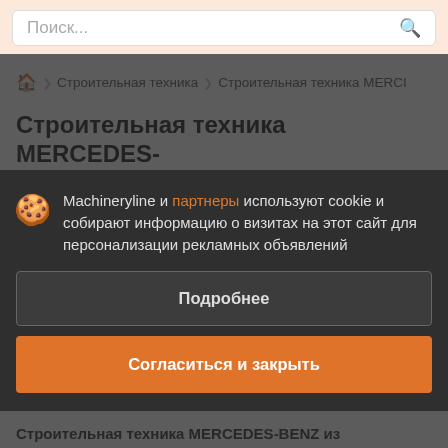Поиск...
🏠 > Строительная техника > Строительная техника MERCI
Строительная техника MERCEDES-BENZ из Украины
Machineryline и партнеры используют cookie и собирают информацию о визитах на этот сайт для персонализации рекламных объявлений
Подробнее
Согласиться и закрыть
Строительная техника MERCEDES-BENZ из